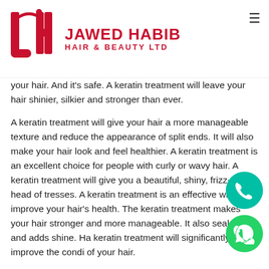JAWED HABIB HAIR & BEAUTY LTD
your hair. And it's safe. A keratin treatment will leave your hair shinier, silkier and stronger than ever.
A keratin treatment will give your hair a more manageable texture and reduce the appearance of split ends. It will also make your hair look and feel healthier. A keratin treatment is an excellent choice for people with curly or wavy hair. A keratin treatment will give you a beautiful, shiny, frizz-free head of tresses. A keratin treatment is an effective way to improve your hair's health. The keratin treatment makes your hair stronger and more manageable. It also seals color and adds shine. Having a keratin treatment will significantly improve the condition of your hair.
Having a keratin treatment is a great way to save your hair. By preventing frizz and tangles, you'll be able to avoid